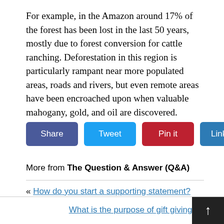For example, in the Amazon around 17% of the forest has been lost in the last 50 years, mostly due to forest conversion for cattle ranching. Deforestation in this region is particularly rampant near more populated areas, roads and rivers, but even remote areas have been encroached upon when valuable mahogany, gold, and oil are discovered.
[Figure (other): Social sharing buttons: Share (dark blue), Tweet (light blue), Pin it (red), LinkedIn (steel blue)]
More from The Question & Answer (Q&A)
« How do you start a supporting statement?
What is the purpose of gift giving? »